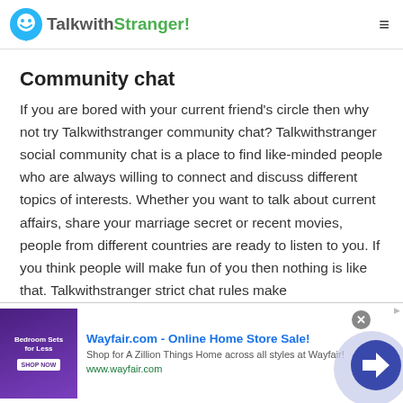TalkwithStranger!
Community chat
If you are bored with your current friend's circle then why not try Talkwithstranger community chat? Talkwithstranger social community chat is a place to find like-minded people who are always willing to connect and discuss different topics of interests. Whether you want to talk about current affairs, share your marriage secret or recent movies, people from different countries are ready to listen to you. If you think people will make fun of you then nothing is like that. Talkwithstranger strict chat rules make
[Figure (screenshot): Wayfair.com advertisement banner - Online Home Store Sale! Shop for A Zillion Things Home across all styles at Wayfair! www.wayfair.com - with bedroom furniture image and navigation arrow]